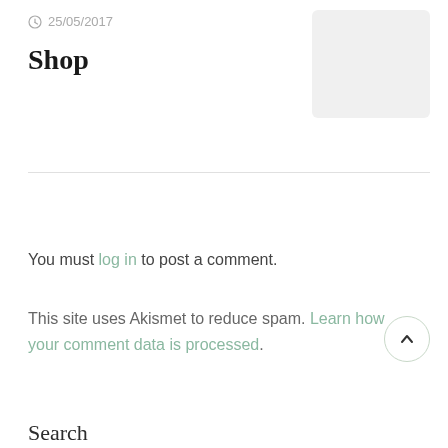25/05/2017
Shop
[Figure (other): Gray placeholder image box in top right corner]
You must log in to post a comment.
This site uses Akismet to reduce spam. Learn how your comment data is processed.
Search